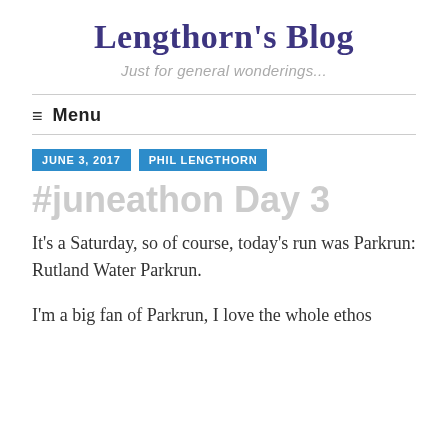Lengthorn's Blog
Just for general wonderings...
≡  Menu
JUNE 3, 2017   PHIL LENGTHORN
#juneathon Day 3
It's a Saturday, so of course, today's run was Parkrun: Rutland Water Parkrun.
I'm a big fan of Parkrun, I love the whole ethos